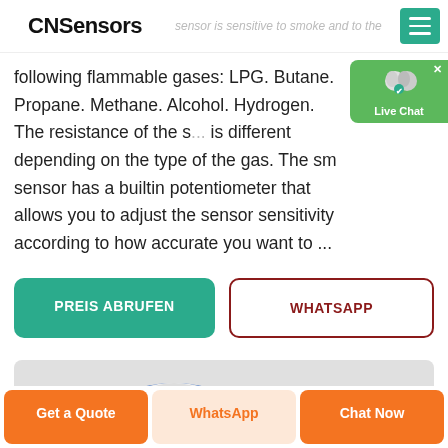CNSensors
following flammable gases: LPG. Butane. Propane. Methane. Alcohol. Hydrogen. The resistance of the s... is different depending on the type of the gas. The sm... sensor has a builtin potentiometer that allows you to adjust the sensor sensitivity according to how accurate you want to ...
PREIS ABRUFEN
WHATSAPP
[Figure (photo): Product image of a round smoke/gas sensor device with blue ring on grey background]
Get a Quote
WhatsApp
Chat Now